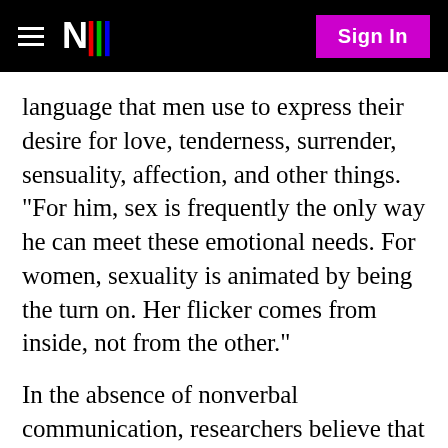N Sign In
language that men use to express their desire for love, tenderness, surrender, sensuality, affection, and other things. "For him, sex is frequently the only way he can meet these emotional needs. For women, sexuality is animated by being the turn on. Her flicker comes from inside, not from the other."
In the absence of nonverbal communication, researchers believe that the emphasis placed on app user images increases sexual objectification. Users are compelled to base their offline meeting decision on physical characteristics, self-reported data and